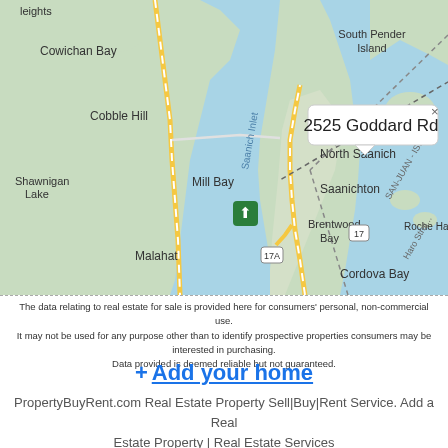[Figure (map): Google Maps screenshot showing 2525 Goddard Rd location with a tooltip/popup. Visible locations include Cowichan Bay, Cobble Hill, Shawnigan Lake, Mill Bay, Saanich Inlet, Sidney, North Saanich, Saanichton, Brentwood Bay, Malahat, Cordova Bay, South Pender Island, Roche Harbor. Roads 17 and 17A visible. SAN-JUAN / Haro Strait boundary line shown.]
The data relating to real estate for sale is provided here for consumers' personal, non-commercial use. It may not be used for any purpose other than to identify prospective properties consumers may be interested in purchasing. Data provided is deemed reliable but not guaranteed.
+ Add your home
PropertyBuyRent.com Real Estate Property Sell|Buy|Rent Service. Add a Real Estate Property | Real Estate Services
All rights reserved 2016-2022 propertybuyrent.com